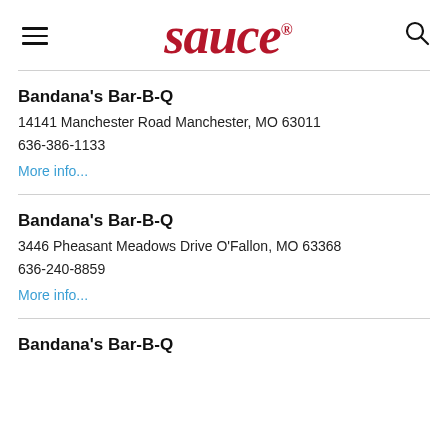sauce
Bandana's Bar-B-Q
14141 Manchester Road Manchester, MO 63011
636-386-1133
More info...
Bandana's Bar-B-Q
3446 Pheasant Meadows Drive O'Fallon, MO 63368
636-240-8859
More info...
Bandana's Bar-B-Q